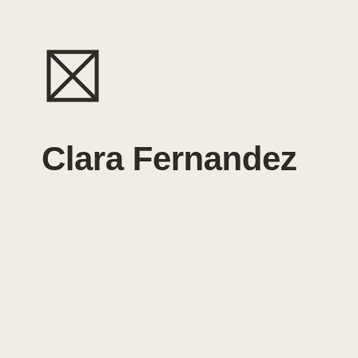[Figure (logo): A square icon with an X drawn inside it, formed by two diagonal lines from corner to corner, with a rectangular border outline. Dark brown/charcoal color on cream background.]
Clara Fernandez